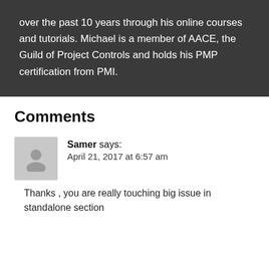over the past 10 years through his online courses and tutorials. Michael is a member of AACE, the Guild of Project Controls and holds his PMP certification from PMI.
Comments
Samer says: April 21, 2017 at 6:57 am Thanks , you are really touching big issue in standalone section